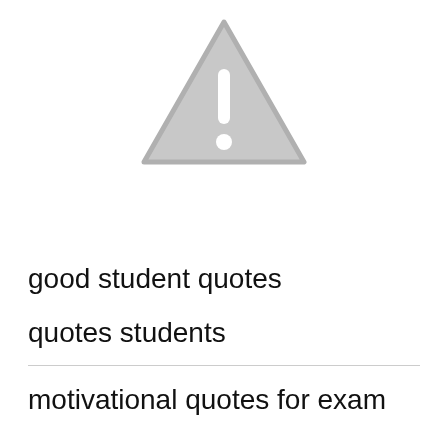[Figure (illustration): Gray warning triangle icon with exclamation mark, centered at top of page]
good student quotes
quotes students
motivational quotes for exam